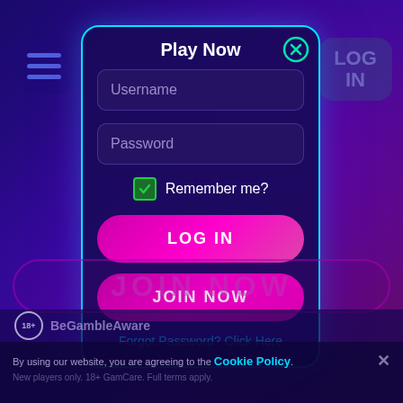[Figure (screenshot): Online casino website background with deep blue-purple gradient and a modal login dialog]
Play Now
Username
Password
Remember me?
LOG IN
JOIN NOW
Forgot Password? Click Here
LOG IN
JOIN NOW
BeGambleAware
By using our website, you are agreeing to the Cookie Policy.